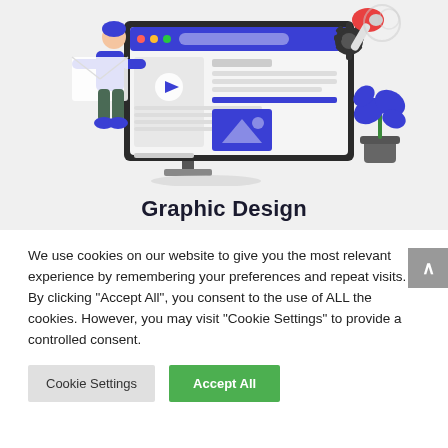[Figure (illustration): Graphic design illustration showing a person placing content onto a large monitor/screen mockup with browser UI, gears, and a plant in the background on a light grey background]
Graphic Design
We use cookies on our website to give you the most relevant experience by remembering your preferences and repeat visits. By clicking "Accept All", you consent to the use of ALL the cookies. However, you may visit "Cookie Settings" to provide a controlled consent.
Cookie Settings | Accept All